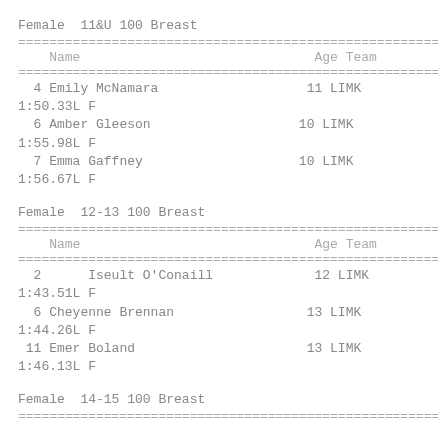Female  11&U 100 Breast
| Name | Age | Team |
| --- | --- | --- |
| 4 Emily McNamara | 11 | LIMK | 1:50.33L F |
| 6 Amber Gleeson | 10 | LIMK | 1:55.98L F |
| 7 Emma Gaffney | 10 | LIMK | 1:56.67L F |
Female  12-13 100 Breast
| Name | Age | Team |
| --- | --- | --- |
| 2   Iseult O'Conaill | 12 | LIMK | 1:43.51L F |
| 6 Cheyenne Brennan | 13 | LIMK | 1:44.26L F |
| 11 Emer Boland | 13 | LIMK | 1:46.13L F |
Female  14-15 100 Breast